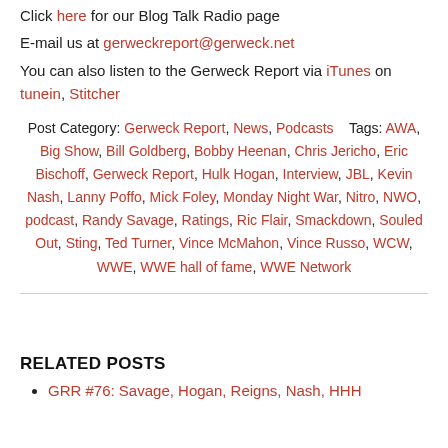Click here for our Blog Talk Radio page
E-mail us at gerweckreport@gerweck.net
You can also listen to the Gerweck Report via iTunes on tunein, Stitcher
Post Category: Gerweck Report, News, Podcasts    Tags: AWA, Big Show, Bill Goldberg, Bobby Heenan, Chris Jericho, Eric Bischoff, Gerweck Report, Hulk Hogan, Interview, JBL, Kevin Nash, Lanny Poffo, Mick Foley, Monday Night War, Nitro, NWO, podcast, Randy Savage, Ratings, Ric Flair, Smackdown, Souled Out, Sting, Ted Turner, Vince McMahon, Vince Russo, WCW, WWE, WWE hall of fame, WWE Network
RELATED POSTS
GRR #76: Savage, Hogan, Reigns, Nash, HHH